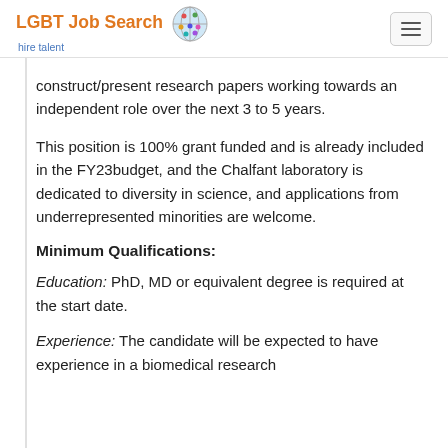LGBT Job Search hire talent
construct/present research papers working towards an independent role over the next 3 to 5 years.
This position is 100% grant funded and is already included in the FY23budget, and the Chalfant laboratory is dedicated to diversity in science, and applications from underrepresented minorities are welcome.
Minimum Qualifications:
Education: PhD, MD or equivalent degree is required at the start date.
Experience: The candidate will be expected to have experience in a biomedical research